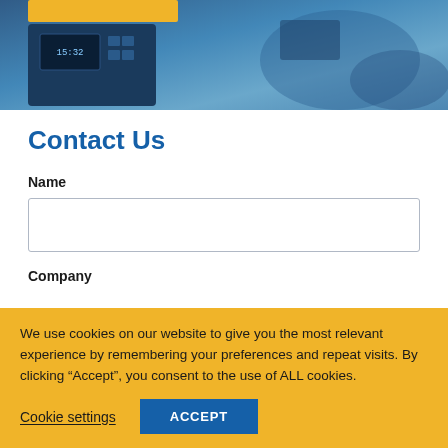[Figure (photo): Blue-tinted photo of industrial/engineering equipment (electronic control device/meter) on a workbench, with a yellow button partially visible at top.]
Contact Us
Name
Company
We use cookies on our website to give you the most relevant experience by remembering your preferences and repeat visits. By clicking “Accept”, you consent to the use of ALL cookies.
Cookie settings
ACCEPT